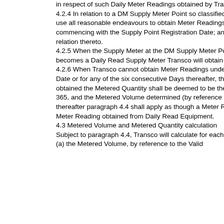in respect of such Daily Meter Readings obtained by Transco.
4.2.4 In relation to a DM Supply Meter Point so classified in accordance with Section G1.5.13, Transco shall use all reasonable endeavours to obtain Meter Readings by procuring On-Site Meter Reads, for each Day commencing with the Supply Point Registration Date; and the Registered User shall cooperate with Transco in relation thereto.
4.2.5 When the Supply Meter at the DM Supply Meter Point classified in accordance with Section G1.5.13 becomes a Daily Read Supply Meter Transco will obtain Meter Readings in accordance with paragraph 4.2.1.
4.2.6 When Transco cannot obtain Meter Readings under paragraph 4.2.4 for the Supply Point Registration Date or for any of the six consecutive Days thereafter, then for each Day for which Meter Readings are not obtained the Metered Quantity shall be deemed to be the Annual Quantity for the DM Supply Point divided by 365, and the Metered Volume determined (by reference to the relevant calorific value) accordingly, but thereafter paragraph 4.4 shall apply as though a Meter Reading obtained under paragraph 4.2.4 were a Valid Meter Reading obtained from Daily Read Equipment.
4.3 Metered Volume and Metered Quantity calculation
Subject to paragraph 4.4, Transco will calculate for each Daily Read Supply Meter each Day:
(a) the Metered Volume, by reference to the Valid